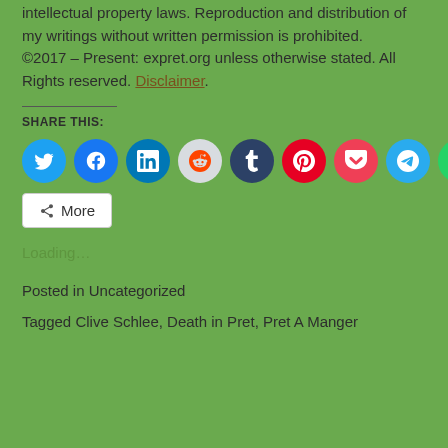intellectual property laws. Reproduction and distribution of my writings without written permission is prohibited. ©2017 – Present: expret.org unless otherwise stated. All Rights reserved. Disclaimer.
SHARE THIS:
[Figure (infographic): Row of social media share icon circles: Twitter, Facebook, LinkedIn, Reddit, Tumblr, Pinterest, Pocket, Telegram, WhatsApp, Skype]
More
Loading…
Posted in Uncategorized
Tagged Clive Schlee, Death in Pret, Pret A Manger